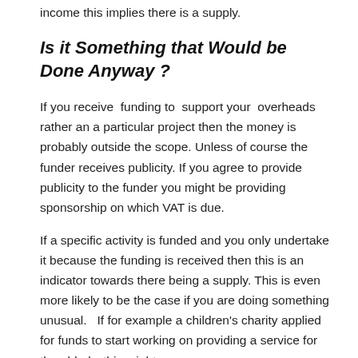income this implies there is a supply.
Is it Something that Would be Done Anyway ?
If you receive funding to support your overheads rather an a particular project then the money is probably outside the scope. Unless of course the funder receives publicity. If you agree to provide publicity to the funder you might be providing sponsorship on which VAT is due.
If a specific activity is funded and you only undertake it because the funding is received then this is an indicator towards there being a supply. This is even more likely to be the case if you are doing something unusual.  If for example a children's charity applied for funds to start working on providing a service for the elderly, this might